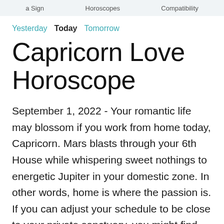a Sign   Horoscopes   Compatibility
Yesterday  Today  Tomorrow
Capricorn Love Horoscope
September 1, 2022 - Your romantic life may blossom if you work from home today, Capricorn. Mars blasts through your 6th House while whispering sweet nothings to energetic Jupiter in your domestic zone. In other words, home is where the passion is. If you can adjust your schedule to be close to your private sanctuary, you might find time